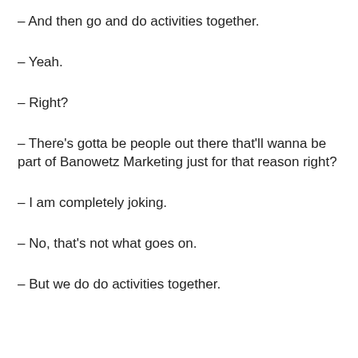– And then go and do activities together.
– Yeah.
– Right?
– There's gotta be people out there that'll wanna be part of Banowetz Marketing just for that reason right?
– I am completely joking.
– No, that's not what goes on.
– But we do do activities together.